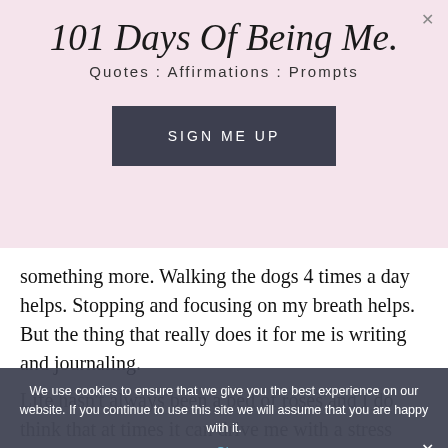101 Days Of Being Me.
Quotes : Affirmations : Prompts
SIGN ME UP
something more. Walking the dogs 4 times a day helps. Stopping and focusing on my breath helps. But the thing that really does it for me is writing and journaling.
Life hasn't always been a bed of roses and I do think that at times it can drive me with a stress alert.
We use cookies to ensure that we give you the best experience on our website. If you continue to use this site we will assume that you are happy with it.
Ok